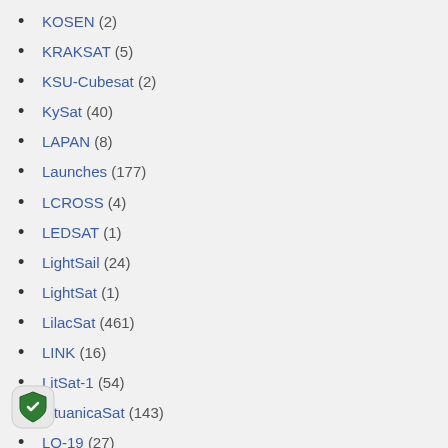KOSEN (2)
KRAKSAT (5)
KSU-Cubesat (2)
KySat (40)
LAPAN (8)
Launches (177)
LCROSS (4)
LEDSAT (1)
LightSail (24)
LightSat (1)
LilacSat (461)
LINK (16)
LitSat-1 (54)
LituanicaSat (143)
LO-19 (27)
LQSat (1)
LUCKY-7 (2)
LUME (4)
LUME-1 (13)
Luojia (2)
M6P (3)
MaSat-1 (404)